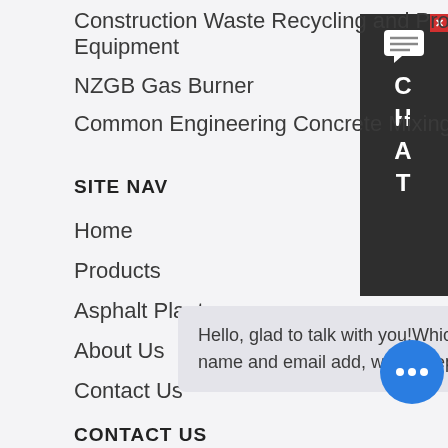Construction Waste Recycling and Processing Equipment
NZGB Gas Burner
Common Engineering Concrete Mixing Plant
SITE NAV
Home
Products
Asphalt Plant
About Us
Contact Us
[Figure (screenshot): Chat widget on right side showing CHAT text vertically with close button]
Hello, glad to talk with you!Which equipment are you interested in?Kindly leave your name and email add, we will reply you with detail
CONTACT US